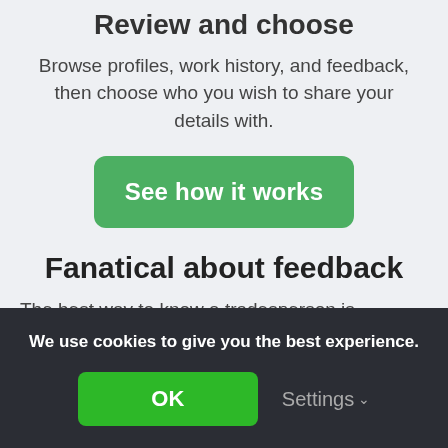Review and choose
Browse profiles, work history, and feedback, then choose who you wish to share your details with.
[Figure (other): Green button labeled 'See how it works']
Fanatical about feedback
The best way to know a tradesperson is to listen to their customers. Feedback
We use cookies to give you the best experience.
[Figure (other): Cookie consent banner with OK button and Settings option]